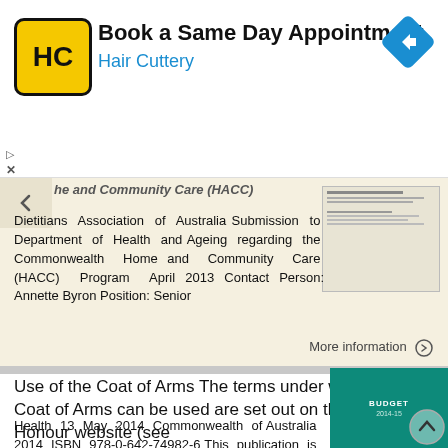[Figure (screenshot): Advertisement banner for Hair Cuttery - Book a Same Day Appointment with HC logo and blue arrow icon]
he and Community Care (HACC)
Dietitians Association of Australia Submission to Department of Health and Ageing regarding the Commonwealth Home and Community Care (HACC) Program April 2013 Contact Person: Annette Byron Position: Senior
More information ⊙
Use of the Coat of Arms The terms under which the Coat of Arms can be used are set out on the It s an Honour website (see
Health 13 May 2014 Commonwealth of Australia 2014 ISBN 978-0-642-74982-6 This publication is available for your use